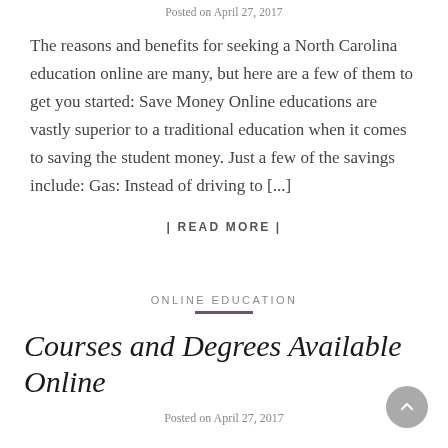Posted on April 27, 2017
The reasons and benefits for seeking a North Carolina education online are many, but here are a few of them to get you started: Save Money Online educations are vastly superior to a traditional education when it comes to saving the student money. Just a few of the savings include: Gas: Instead of driving to [...]
| READ MORE |
ONLINE EDUCATION
Courses and Degrees Available Online
Posted on April 27, 2017